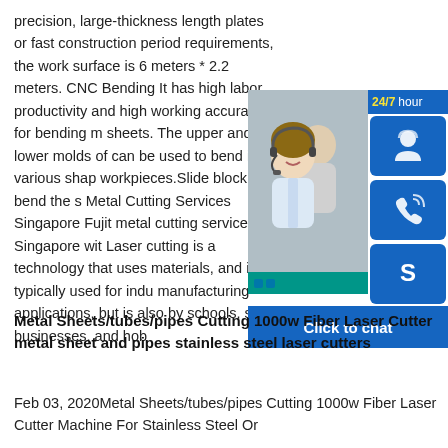precision, large-thickness length plates or fast construction period requirements, the work surface is 6 meters * 2.2 meters. CNC Bending It has high labor productivity and high working accuracy for bending metal sheets. The upper and lower molds of can be used to bend into various shapes of workpieces.Slide block can bend the s Metal Cutting Services Singapore Fujit metal cutting services in Singapore wit Laser cutting is a technology that uses materials, and is typically used for indu manufacturing applications, but is also by schools, small businesses, and hob
[Figure (infographic): Customer support widget showing 24/7 hour support with a photo of a smiling support agent wearing a headset, icons for headset, phone, and Skype, and a Click to chat button]
Metal Sheets/tubes/pipes Cutting 1000w Fiber Laser Cutter metal sheet and pipes stainless steel laser cutters
Feb 03, 2020Metal Sheets/tubes/pipes Cutting 1000w Fiber Laser Cutter Machine For Stainless Steel Or